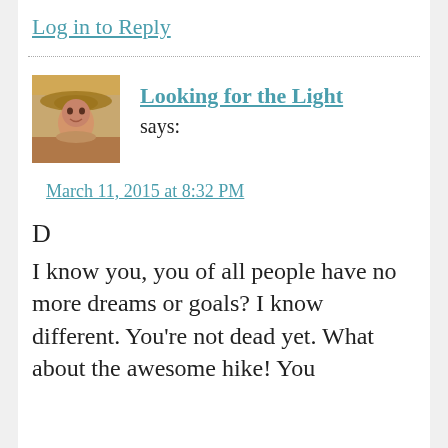Log in to Reply
Looking for the Light says:
March 11, 2015 at 8:32 PM
D

I know you, you of all people have no more dreams or goals? I know different. You're not dead yet. What about the awesome hike! You